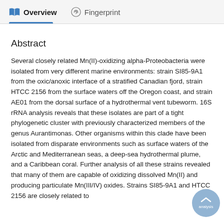Overview   Fingerprint
Abstract
Several closely related Mn(II)-oxidizing alpha-Proteobacteria were isolated from very different marine environments: strain SI85-9A1 from the oxic/anoxic interface of a stratified Canadian fjord, strain HTCC 2156 from the surface waters off the Oregon coast, and strain AE01 from the dorsal surface of a hydrothermal vent tubeworm. 16S rRNA analysis reveals that these isolates are part of a tight phylogenetic cluster with previously characterized members of the genus Aurantimonas. Other organisms within this clade have been isolated from disparate environments such as surface waters of the Arctic and Mediterranean seas, a deep-sea hydrothermal plume, and a Caribbean coral. Further analysis of all these strains revealed that many of them are capable of oxidizing dissolved Mn(II) and producing particulate Mn(III/IV) oxides. Strains SI85-9A1 and HTCC 2156 are closely related to